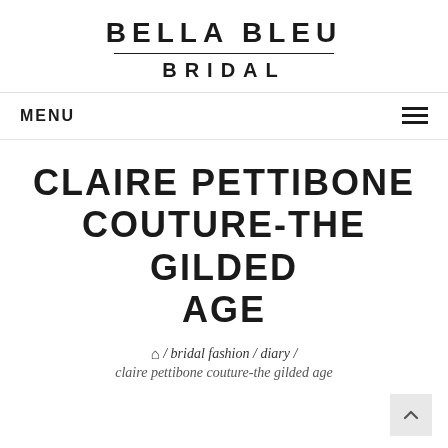BELLA BLEU BRIDAL
MENU
CLAIRE PETTIBONE COUTURE-THE GILDED AGE
/ bridal fashion / diary / claire pettibone couture-the gilded age